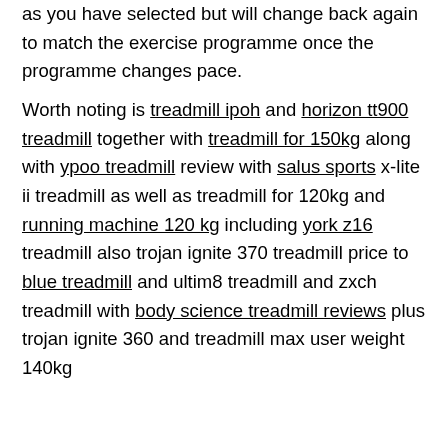as you have selected but will change back again to match the exercise programme once the programme changes pace.
Worth noting is treadmill ipoh and horizon tt900 treadmill together with treadmill for 150kg along with ypoo treadmill review with salus sports x-lite ii treadmill as well as treadmill for 120kg and running machine 120 kg including york z16 treadmill also trojan ignite 370 treadmill price to blue treadmill and ultim8 treadmill and zxch treadmill with body science treadmill reviews plus trojan ignite 360 and treadmill max user weight 140kg